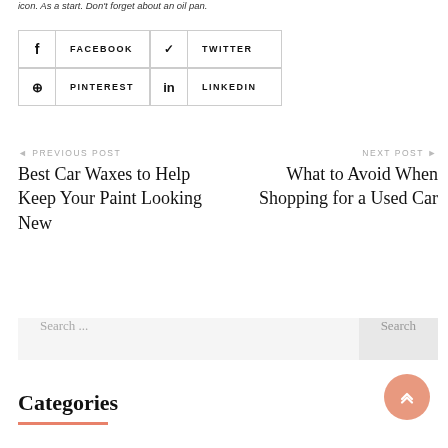icon. As a start. Don't forget about an oil pan.
FACEBOOK | TWITTER | PINTEREST | LINKEDIN
◄ PREVIOUS POST
Best Car Waxes to Help Keep Your Paint Looking New
NEXT POST ►
What to Avoid When Shopping for a Used Car
Search ...
Categories